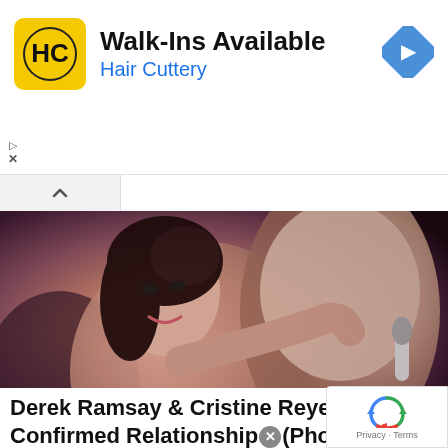[Figure (screenshot): Hair Cuttery advertisement banner with logo (yellow circle with HC text), title 'Walk-Ins Available', subtitle 'Hair Cuttery', and a blue navigation arrow icon on the right. Play and X icons on the left side.]
[Figure (photo): Photo of a young woman smiling and hugging a muscular man who is holding a microphone. Entertainment/celebrity context.]
Derek Ramsay & Cristine Reyes Confirmed Relationship (Photos) -...
[Figure (screenshot): Video player overlay showing dark background with text 'Trận tuyết lịch sử ...' and a play button circle.]
irmed that he is ress Cristine Reyes a...
[Figure (logo): Google reCAPTCHA badge with rotating arrows logo and 'Privacy · Terms' text.]